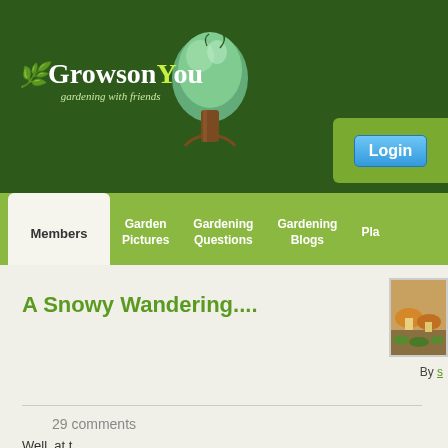[Figure (logo): GrowsOnYou gardening with friends website logo with green tree illustration and white text on dark green background]
Login
Members | Garden Pictures | Gardening Questions | Gardening Blogs | Pla...
A Snowy Wandering....
By s
29 comments
Well, at t...